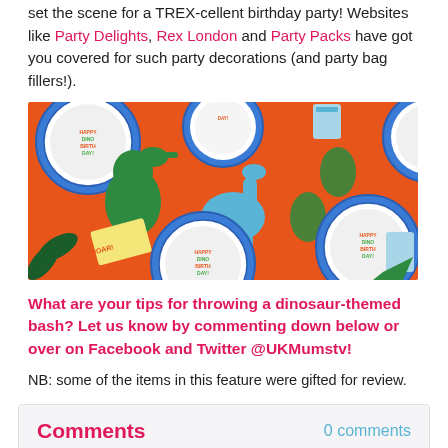set the scene for a TREX-cellent birthday party! Websites like Party Delights, Rex London and Party Packs have got you covered for such party decorations (and party bag fillers!).
[Figure (photo): Colorful dinosaur-themed party supplies arranged on an orange background, including plates with 'Happy Dino Birth Day!' text, honeycomb dinosaur decorations, green paper leaves, and party cups.]
What are your tips for throwing a dinosaur-themed bash? Let us know by commenting down below or over on Facebook and Twitter @UKMumstv!
NB: some of the items in this feature were gifted for review.
Comments
0 comments
Please sign in or register to leave comments on